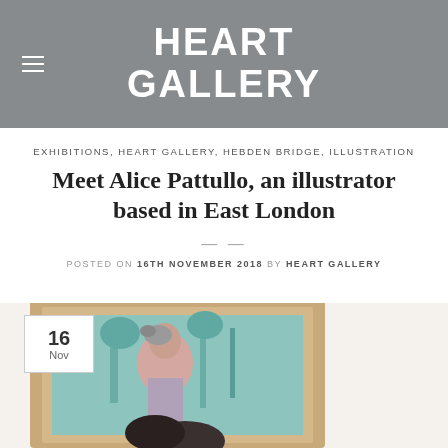HEART GALLERY
EXHIBITIONS, HEART GALLERY, HEBDEN BRIDGE, ILLUSTRATION
Meet Alice Pattullo, an illustrator based in East London
POSTED ON 16TH NOVEMBER 2018 BY HEART GALLERY
[Figure (photo): Gallery wall with framed artworks including a painting of a woman and a landscape painting. A date badge showing 16 Nov appears in the bottom-left corner over the photo.]